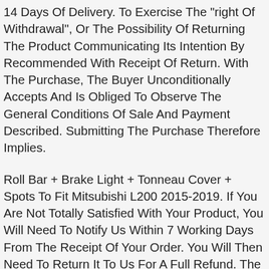14 Days Of Delivery. To Exercise The "right Of Withdrawal", Or The Possibility Of Returning The Product Communicating Its Intention By Recommended With Receipt Of Return. With The Purchase, The Buyer Unconditionally Accepts And Is Obliged To Observe The General Conditions Of Sale And Payment Described. Submitting The Purchase Therefore Implies.
Roll Bar + Brake Light + Tonneau Cover + Spots To Fit Mitsubishi L200 2015-2019. If You Are Not Totally Satisfied With Your Product, You Will Need To Notify Us Within 7 Working Days From The Receipt Of Your Order. You Will Then Need To Return It To Us For A Full Refund. The Product Has To Be In A Re-saleable Condition. You Will Be Liable For The Cost Of Replacement Or Repair Of Any Goods Returned Scratched Or Damaged. If You Are Returning An Item, You Must Ensure That We Receive It Adequately Packaged (similar To The Way It Was Delivered To You), Correctly Addressed With Correct Postage.we Recommend That You Insure The Return Of The Item. The Customer Must Pay For Return Delivery Costs, However This Will Be Refunded If Reason For Return Is No